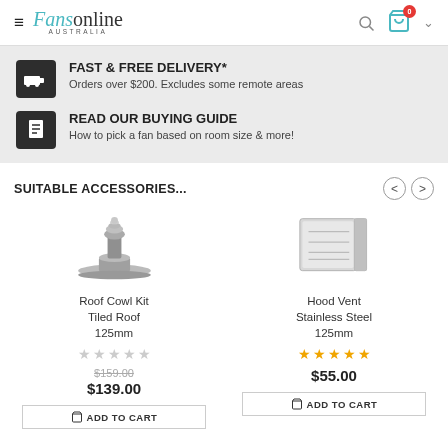Fansonline AUSTRALIA
FAST & FREE DELIVERY*
Orders over $200. Excludes some remote areas
READ OUR BUYING GUIDE
How to pick a fan based on room size & more!
SUITABLE ACCESSORIES...
Roof Cowl Kit Tiled Roof 125mm
$159.00
$139.00
Hood Vent Stainless Steel 125mm
$55.00